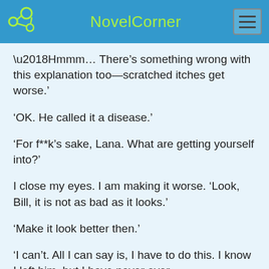NovelCorner
‘Hmmm… There’s something wrong with this explanation too—scratched itches get worse.’
‘OK. He called it a disease.’
‘For f**k’s sake, Lana. What are getting yourself into?’
I close my eyes. I am making it worse. ‘Look, Bill, it is not as bad as it looks.’
‘Make it look better then.’
‘I can’t. All I can say is, I have to do this. I know I left him, but I have never ever